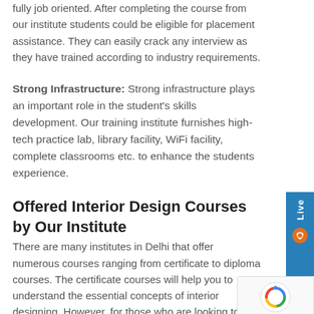fully job oriented. After completing the course from our institute students could be eligible for placement assistance. They can easily crack any interview as they have trained according to industry requirements.
Strong Infrastructure: Strong infrastructure plays an important role in the student's skills development. Our training institute furnishes high-tech practice lab, library facility, WiFi facility, complete classrooms etc. to enhance the students experience.
Offered Interior Design Courses by Our Institute
There are many institutes in Delhi that offer numerous courses ranging from certificate to diploma courses. The certificate courses will help you to understand the essential concepts of interior designing. However, for those who are looking to do excel in this profession need to take up diploma courses.
[Figure (other): Live chat widget button on the right side, blue background with 'Live' text and an icon]
[Figure (other): reCAPTCHA widget in the bottom right corner with logo and Privacy/Terms links]